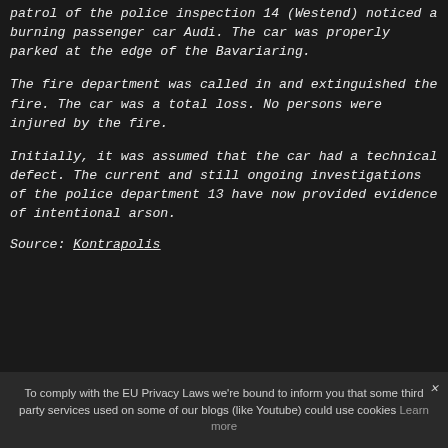patrol of the police inspection 14 (Westend) noticed a burning passenger car Audi. The car was properly parked at the edge of the Bavariaring.
The fire department was called in and extinguished the fire. The car was a total loss. No persons were injured by the fire.
Initially, it was assumed that the car had a technical defect. The current and still ongoing investigations of the police department 13 have now provided evidence of intentional arson.
Source: Kontrapolis
To comply with the EU Privacy Laws we're bound to inform you that some third party services used on some of our blogs (like Youtube) could use cookies Learn more